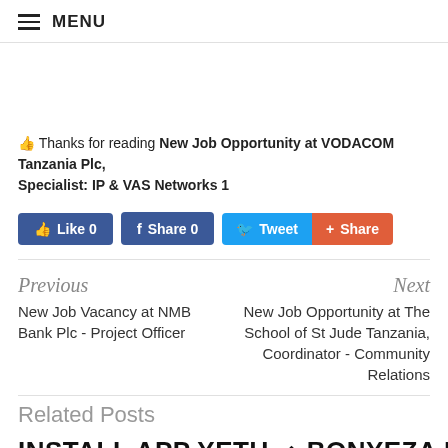≡ MENU
👍 Thanks for reading New Job Opportunity at VODACOM Tanzania Plc, Specialist: IP & VAS Networks 1
[Figure (other): Social share buttons: Like 0, Share 0, Tweet, Share]
Previous
New Job Vacancy at NMB Bank Plc - Project Officer
Next
New Job Opportunity at The School of St Jude Tanzania, Coordinator - Community Relations
Related Posts
INSTALL APP YETU ⇒ BONYEZA HAPA